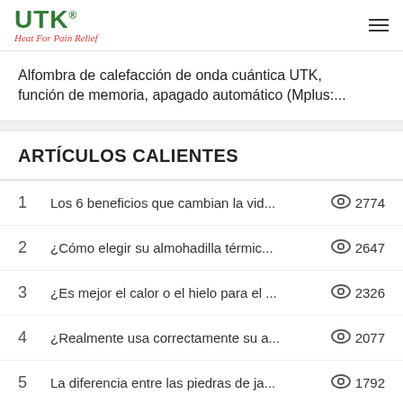UTK® Heat For Pain Relief
Alfombra de calefacción de onda cuántica UTK, función de memoria, apagado automático (Mplus:...
ARTÍCULOS CALIENTES
1  Los 6 beneficios que cambian la vid...  2774
2  ¿Cómo elegir su almohadilla térmic...  2647
3  ¿Es mejor el calor o el hielo para el ...  2326
4  ¿Realmente usa correctamente su a...  2077
5  La diferencia entre las piedras de ja...  1792